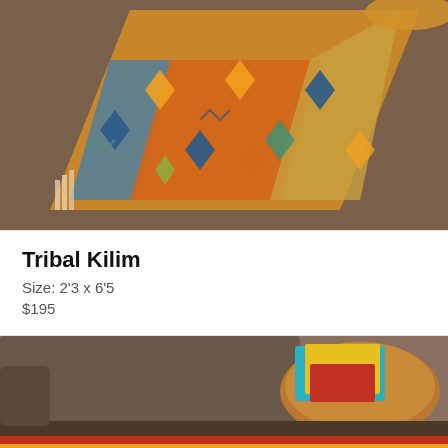[Figure (photo): Overhead photo of a colorful tribal kilim rug runner with geometric diamond patterns in orange, blue, yellow, and teal, laid diagonally on a brown carpet floor. An orange round stool is partially visible at top right.]
Tribal Kilim
Size: 2'3 x 6'5
$195
[Figure (photo): Partial photo showing a brown sofa, a round wooden side table with colorful books/magazines on it, and the edge of a colorful striped tribal rug on the floor.]